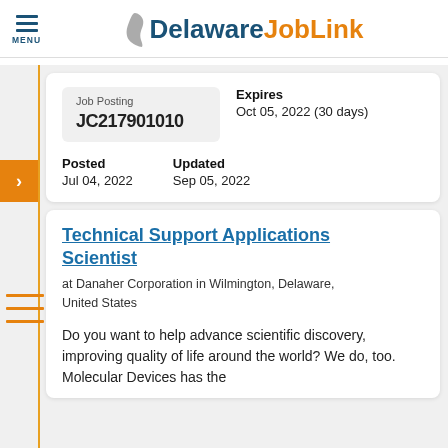Delaware JobLink
| Job Posting | Expires | Posted | Updated |
| --- | --- | --- | --- |
| JC217901010 | Oct 05, 2022 (30 days) | Jul 04, 2022 | Sep 05, 2022 |
Technical Support Applications Scientist
at Danaher Corporation in Wilmington, Delaware, United States
Do you want to help advance scientific discovery, improving quality of life around the world? We do, too. Molecular Devices has the